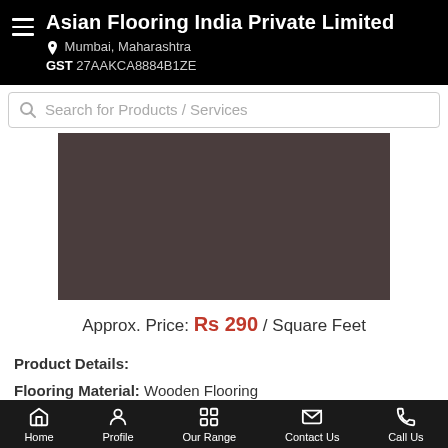Asian Flooring India Private Limited | Mumbai, Maharashtra | GST 27AAKCA8884B1ZE
Search for Products / Services
[Figure (photo): Dark brownish-gray product image placeholder for flooring product]
Approx. Price: Rs 290 / Square Feet
Product Details:
Flooring Material: Wooden Flooring
Type of Sports Flooring:...more
Call Us | Get Details
Home | Profile | Our Range | Contact Us | Call Us